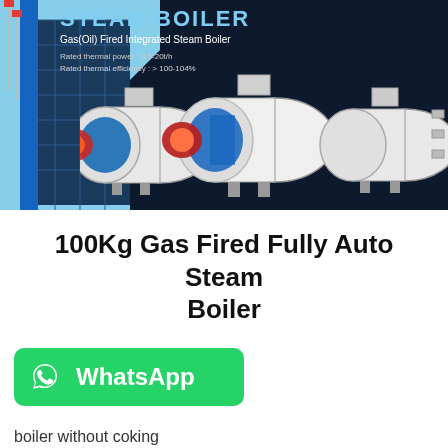[Figure (photo): Dark blue banner showing industrial steam boilers with a building/factory on the left side. Title reads STEAM BOILER with subtitle Gas(Oil) Fired Integrated Steam Boiler and specs for rated thermal power 0.5-20t/h and rated thermal efficiency >100-104%.]
100Kg Gas Fired Fully Auto Steam Boiler
[Figure (logo): Green WhatsApp button with WhatsApp logo icon and text 'WhatsApp']
boiler without coking